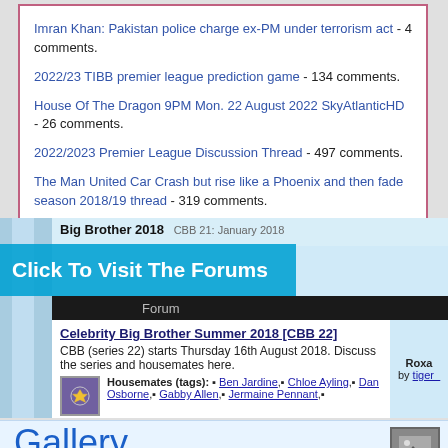Imran Khan: Pakistan police charge ex-PM under terrorism act - 4 comments.
2022/23 TIBB premier league prediction game - 134 comments.
House Of The Dragon 9PM Mon. 22 August 2022 SkyAtlanticHD - 26 comments.
2022/2023 Premier League Discussion Thread - 497 comments.
The Man United Car Crash but rise like a Phoenix and then fade season 2018/19 thread - 319 comments.
[Figure (screenshot): Screenshot of a forum website showing Big Brother 2018 thread with Celebrity Big Brother Summer 2018 [CBB 22] post, housemates tags including Ben Jardine, Chloe Ayling, Dan Osborne, Gabby Allen, Jermaine Pennant, and a 'Click To Visit The Forums' overlay banner.]
[Figure (screenshot): Gallery section header showing 'Gallery' in large blue text with an image icon, and a dark bar below reading 'Celebrity Big Brother 2014 [cbb 14] Gallery Pictures'.]